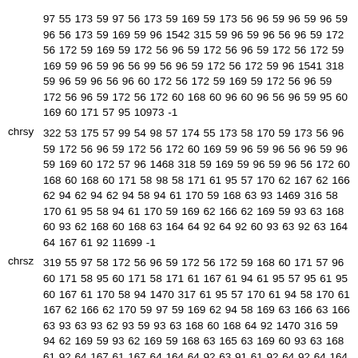97 55 173 59 97 56 173 59 169 59 173 56 96 59 96 59 96 59 96 56 173 59 169 59 96 1542 315 59 96 59 96 56 96 59 172 56 172 59 169 59 172 56 96 59 172 56 96 59 172 56 172 59 169 59 96 59 96 56 99 56 96 59 172 56 172 59 96 1541 318 59 96 59 96 56 96 60 172 56 172 59 169 59 172 56 96 59 172 56 96 59 172 56 172 60 168 60 96 60 96 56 96 59 95 60 169 60 171 57 95 10973 -1
chrsy
322 53 175 57 99 54 98 57 174 55 173 58 170 59 173 56 96 59 172 56 96 59 172 56 172 60 169 59 96 59 96 56 96 59 96 59 169 60 172 57 96 1468 318 59 169 59 96 59 96 56 172 60 168 60 168 60 171 58 98 58 171 61 95 57 170 62 167 62 166 62 94 62 94 62 94 58 94 61 170 59 168 63 93 1469 316 58 170 61 95 58 94 61 170 59 169 62 166 62 169 59 93 63 168 60 93 62 168 60 168 63 164 64 92 64 92 60 93 63 92 63 164 64 167 61 92 11699 -1
chrsz
319 55 97 58 172 56 96 59 172 56 172 59 168 60 171 57 96 60 171 58 95 60 171 58 171 61 167 61 94 61 95 57 95 61 95 60 167 61 170 58 94 1470 317 61 95 57 170 61 94 58 170 61 167 62 166 62 170 59 97 59 169 62 94 58 169 63 166 63 166 63 93 63 93 62 93 59 93 63 168 60 168 64 92 1470 316 59 94 62 169 59 93 62 169 59 168 63 165 63 169 60 93 63 168 61 92 64 167 61 167 64 164 64 92 63 91 61 92 64 92 64 164 64 167 61 91 7460 -1